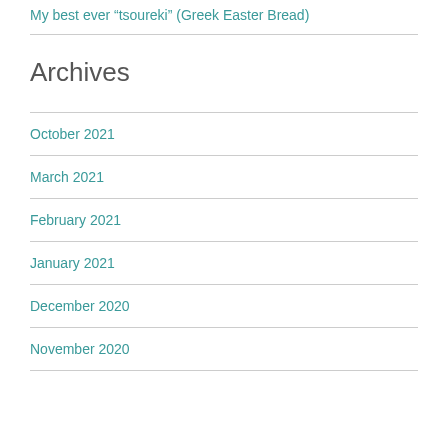My best ever “tsoureki” (Greek Easter Bread)
Archives
October 2021
March 2021
February 2021
January 2021
December 2020
November 2020